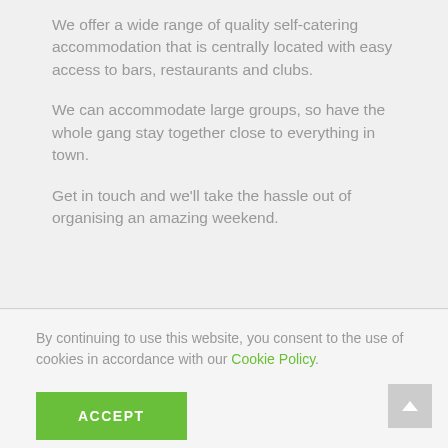We offer a wide range of quality self-catering accommodation that is centrally located with easy access to bars, restaurants and clubs.
We can accommodate large groups, so have the whole gang stay together close to everything in town.
Get in touch and we'll take the hassle out of organising an amazing weekend.
By continuing to use this website, you consent to the use of cookies in accordance with our Cookie Policy.
ACCEPT